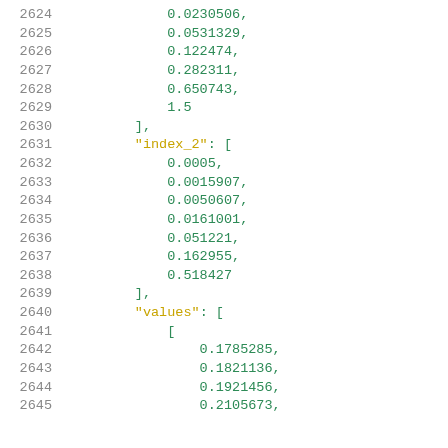2624    0.0230506,
2625    0.0531329,
2626    0.122474,
2627    0.282311,
2628    0.650743,
2629    1.5
2630  ],
2631  "index_2": [
2632    0.0005,
2633    0.0015907,
2634    0.0050607,
2635    0.0161001,
2636    0.051221,
2637    0.162955,
2638    0.518427
2639  ],
2640  "values": [
2641    [
2642      0.1785285,
2643      0.1821136,
2644      0.1921456,
2645      0.2105673,